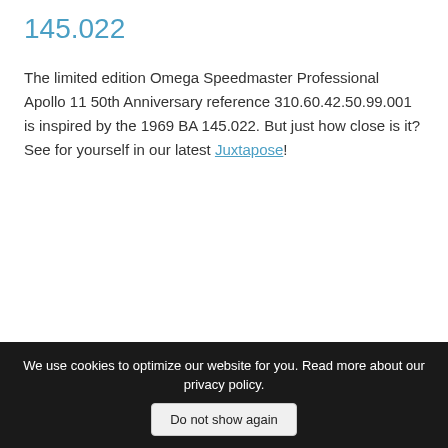145.022
The limited edition Omega Speedmaster Professional Apollo 11 50th Anniversary reference 310.60.42.50.99.001 is inspired by the 1969 BA 145.022. But just how close is it? See for yourself in our latest Juxtapose!
We use cookies to optimize our website for you. Read more about our privacy policy. Do not show again